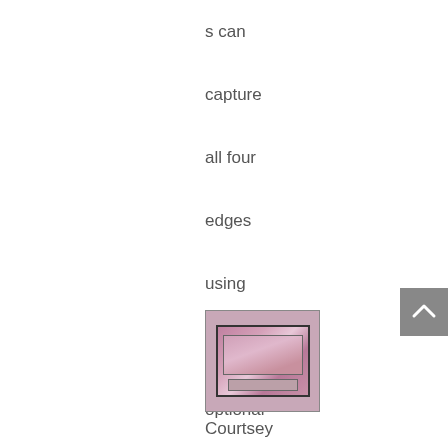s can capture all four edges using the optional glass carrier.
[Figure (photo): Small photograph of a slide or transparency image showing a pink/purple tinted room or scene]
Courtsey of Edward Peterson